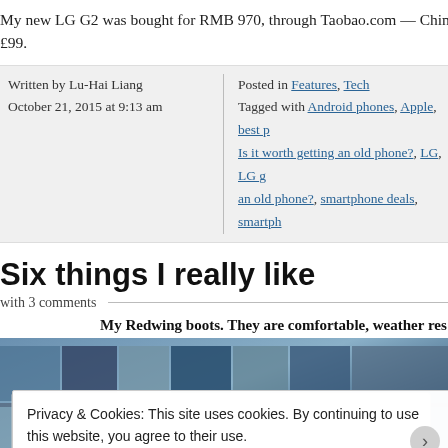My new LG G2 was bought for RMB 970, through Taobao.com — China's eBay. £99.
Written by Lu-Hai Liang
October 21, 2015 at 9:13 am
Posted in Features, Tech
Tagged with Android phones, Apple, best p…, Is it worth getting an old phone?, LG, LG g…, an old phone?, smartphone deals, smartph…
Six things I really like
with 3 comments
My Redwing boots. They are comfortable, weather res…
[Figure (photo): Photo of shelves with colorful items, partially visible behind cookie consent overlay]
Privacy & Cookies: This site uses cookies. By continuing to use this website, you agree to their use.
To find out more, including how to control cookies, see here: Cookie Policy
Close and accept